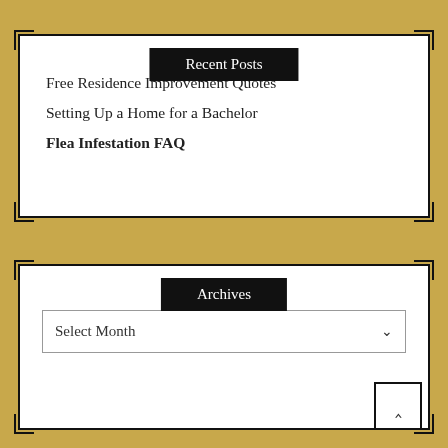Recent Posts
Free Residence Improvement Quotes
Setting Up a Home for a Bachelor
Flea Infestation FAQ
Archives
Select Month
Categories
Bathroom Decoration